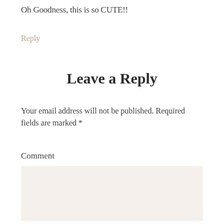Oh Goodness, this is so CUTE!!
Reply
Leave a Reply
Your email address will not be published. Required fields are marked *
Comment